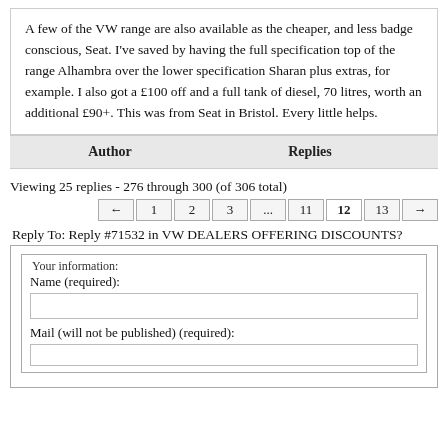A few of the VW range are also available as the cheaper, and less badge conscious, Seat. I've saved by having the full specification top of the range Alhambra over the lower specification Sharan plus extras, for example. I also got a £100 off and a full tank of diesel, 70 litres, worth an additional £90+. This was from Seat in Bristol. Every little helps.
| Author | Replies |
| --- | --- |
Viewing 25 replies - 276 through 300 (of 306 total)
← 1 2 3 ... 11 12 13 →
Reply To: Reply #71532 in VW DEALERS OFFERING DISCOUNTS?
Your information:
Name (required):
Mail (will not be published) (required):